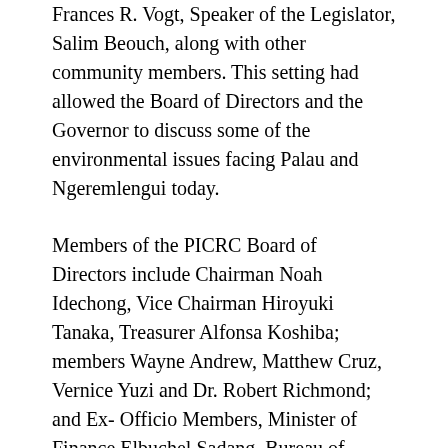Frances R. Vogt, Speaker of the Legislator, Salim Beouch, along with other community members. This setting had allowed the Board of Directors and the Governor to discuss some of the environmental issues facing Palau and Ngeremlengui today.
Members of the PICRC Board of Directors include Chairman Noah Idechong, Vice Chairman Hiroyuki Tanaka, Treasurer Alfonsa Koshiba; members Wayne Andrew, Matthew Cruz, Vernice Yuzi and Dr. Robert Richmond; and Ex- Officio Members, Minister of Finance Elbuchel Sadang, Bureau of Marine Resources (BMR) Director Leon Remengesau, and PICRC CEO, Dr. Yimnang Golbuu. PICRC is governed by a Board of Directors, who are appointed by the President and approved by the Senate. In addition to their governing